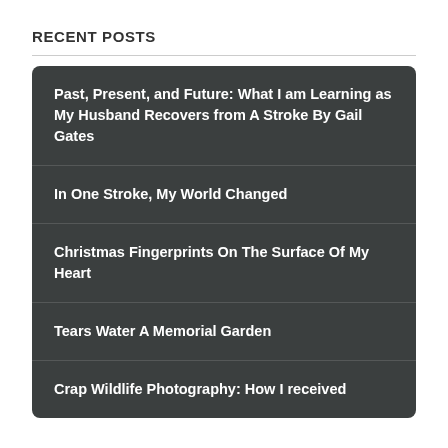RECENT POSTS
Past, Present, and Future: What I am Learning as My Husband Recovers from A Stroke By Gail Gates
In One Stroke, My World Changed
Christmas Fingerprints On The Surface Of My Heart
Tears Water A Memorial Garden
Crap Wildlife Photography: How I received